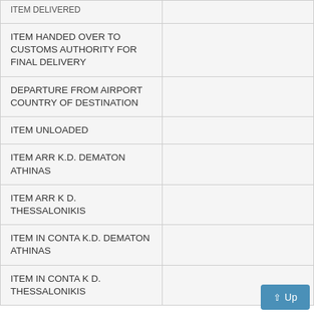| ITEM DELIVERED |  |
| ITEM HANDED OVER TO CUSTOMS AUTHORITY FOR FINAL DELIVERY |  |
| DEPARTURE FROM AIRPORT COUNTRY OF DESTINATION |  |
| ITEM UNLOADED |  |
| ITEM ARR K.D. DEMATON ATHINAS |  |
| ITEM ARR K D. THESSALONIKIS |  |
| ITEM IN CONTA K.D. DEMATON ATHINAS |  |
| ITEM IN CONTA K D. THESSALONIKIS |  |